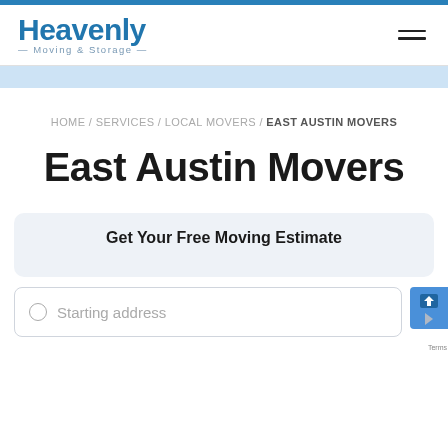Heavenly Moving & Storage
HOME / SERVICES / LOCAL MOVERS / EAST AUSTIN MOVERS
East Austin Movers
Get Your Free Moving Estimate
Starting address